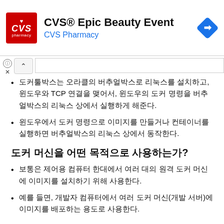[Figure (logo): CVS Pharmacy advertisement banner with CVS logo, title 'CVS® Epic Beauty Event', subtitle 'CVS Pharmacy', and a navigation/directions icon]
도커툴박스는 오라클의 버추얼박스로 리눅스를 설치하고, 윈도우와 TCP 연결을 맺어서, 윈도우의 도커 명령을 버추얼박스의 리눅스 상에서 실행하게 해준다.
윈도우에서 도커 명령으로 이미지를 만들거나 컨테이너를 실행하면 버추얼박스의 리눅스 상에서 동작한다.
도커 머신을 어떤 목적으로 사용하는가?
보통은 제어용 컴퓨터 한대에서 여러 대의 원격 도커 머신에 이미지를 설치하기 위해 사용한다.
예를 들면, 개발자 컴퓨터에서 여러 도커 머신(개발 서버)에 이미지를 배포하는 용도로 사용한다.